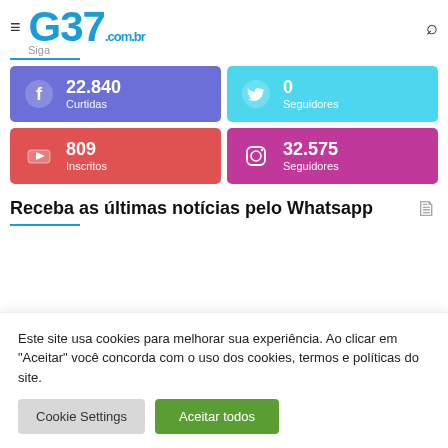G37.com.br
Siga
[Figure (infographic): Social media stats: Facebook 22.840 Curtidas (blue-purple), Twitter 0 Seguidores (cyan), YouTube 809 Inscritos (red), Instagram 32.575 Seguidores (magenta)]
Receba as últimas notícias pelo Whatsapp
Este site usa cookies para melhorar sua experiência. Ao clicar em "Aceitar" você concorda com o uso dos cookies, termos e políticas do site.